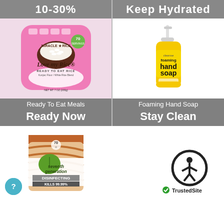10-30%
Keep Hydrated
[Figure (photo): Miracle Rice 'Love my Rice' Ready To Eat Rice pink package]
[Figure (photo): Foaming hand soap yellow bottle with pump]
Ready To Eat Meals
Foaming Hand Soap
Ready Now
Stay Clean
[Figure (photo): Seventh Generation Disinfecting Wipes container, Kills 99.99%, 70 wipes]
[Figure (logo): TrustedSite logo with accessibility icon badge]
[Figure (other): Help/accessibility circular blue button]